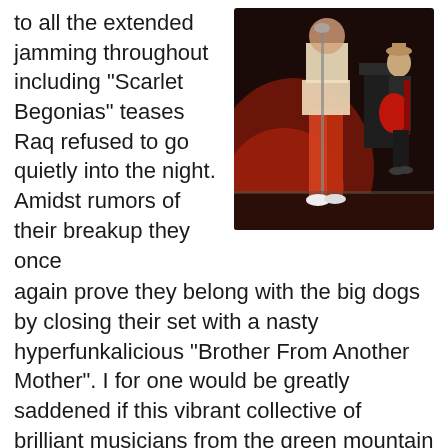to all the extended jamming throughout including "Scarlet Begonias" teases Raq refused to go quietly into the night. Amidst rumors of their breakup they once again prove they belong with the big dogs by closing their set with a nasty hyperfunkalicious "Brother From Another Mother". I for one would be greatly saddened if this vibrant collective of brilliant musicians from the green mountain state decides to call it quits.
[Figure (photo): Concert photo showing performers on stage under red lighting. One performer stands at microphone in foreground, another plays red guitar in background.]
After a funky evening with Lettuce and Medeski Scofield Martin and Wood, Phil Lesh and Friends were finally on for their Friday night headlining set. Jackie Greene's guitar solos were gut busting, on point and